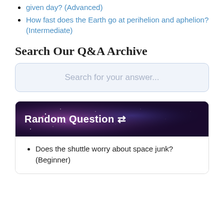given day? (Advanced)
How fast does the Earth go at perihelion and aphelion? (Intermediate)
Search Our Q&A Archive
[Figure (other): Search input box with placeholder text 'Search for your answer...']
[Figure (other): Random Question card with galaxy/space background header and shuffle icon]
Does the shuttle worry about space junk? (Beginner)